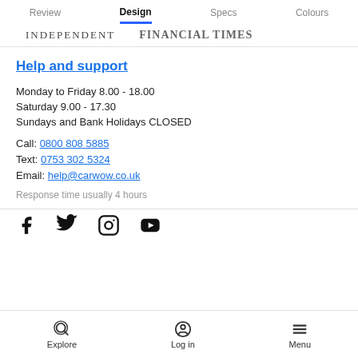Review | Design | Specs | Colours
[Figure (logo): INDEPENDENT and FINANCIAL TIMES logos]
Help and support
Monday to Friday 8.00 - 18.00
Saturday 9.00 - 17.30
Sundays and Bank Holidays CLOSED
Call: 0800 808 5885
Text: 0753 302 5324
Email: help@carwow.co.uk
Response time usually 4 hours
[Figure (illustration): Social media icons: Facebook, Twitter, Instagram, YouTube]
Explore | Log in | Menu